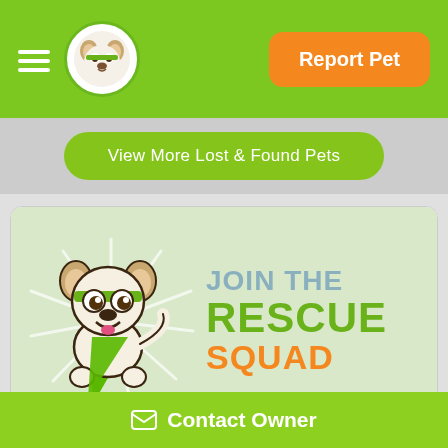Report Pet
View More Lost & Found Pets
[Figure (illustration): Cartoon dog mascot wearing a green superhero cape and green bandana, with radial shine lines behind it, next to JOIN THE RESCUE SQUAD text in blue/green/orange]
The Rescue Squad™ is a group of 3,850,373 pet lovers who have signed up for local lost & found
Contact Owner